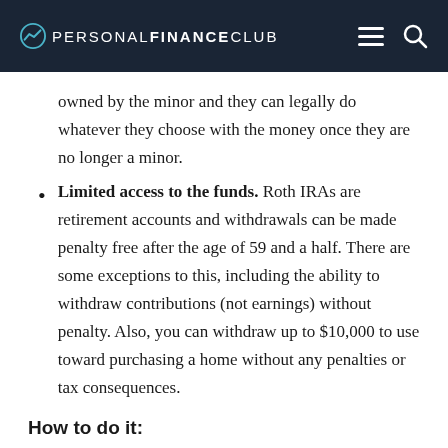PERSONAL FINANCE CLUB
owned by the minor and they can legally do whatever they choose with the money once they are no longer a minor.
Limited access to the funds. Roth IRAs are retirement accounts and withdrawals can be made penalty free after the age of 59 and a half. There are some exceptions to this, including the ability to withdraw contributions (not earnings) without penalty. Also, you can withdraw up to $10,000 to use toward purchasing a home without any penalties or tax consequences.
How to do it:
Most brokerage firms allow you to open a Custodial Roth IRA...